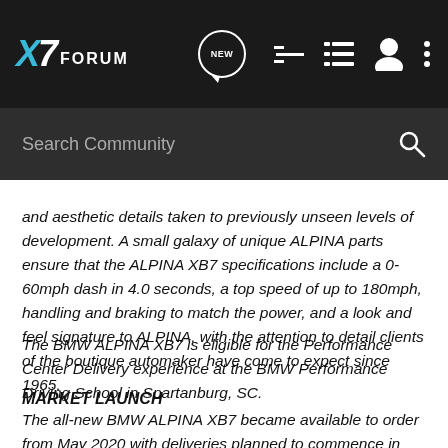X7 FORUM
and aesthetic details taken to previously unseen levels of development. A small galaxy of unique ALPINA parts ensure that the ALPINA XB7 specifications include a 0-60mph dash in 4.0 seconds, a top speed of up to 180mph, handling and braking to match the power, and a look and feel signature to ALPINA, with the attention to detail clients of the boutique automaker have come to expect since 1965.
The BMW ALPINA XB7 is eligible for the Performance Center Delivery experience at the BMW Performance Driving School in Spartanburg, SC.
MARKET LAUNCH
The all-new BMW ALPINA XB7 became available to order from May 2020 with deliveries planned to commence in September